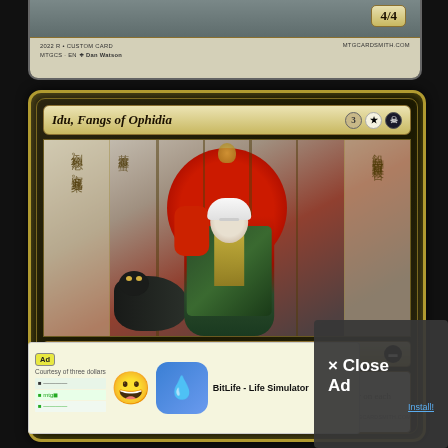[Figure (illustration): Partial top of a Magic: The Gathering custom card showing power/toughness 4/4 and footer text '2022 R * CUSTOM CARD / MTGCS · EN ✦ Dan Watson / MTGCARDSMITH.COM']
[Figure (illustration): Magic: The Gathering custom card 'Idu, Fangs of Ophidia' — Legendary Creature — Human Soldier Noble. Mana cost: 3 White Black. Art shows an East-Asian inspired figure with white hair, red and green robes, holding a black cobra snake, set against a red circle and kanji script background. Abilities: First strike; Whenever Idu, Fangs of Ophidia deals combat damage to a player, put a -1/-1 counter on each creature that player controls. Power/Toughness: 3/2. Footer: 2022 R * CUSTOM CARD / MTGCS · EN ✦ CHIUSHUSHIN / MTGCARDSMITH.COM]
[Figure (screenshot): Ad overlay showing BitLife - Life Simulator app advertisement with smiley emoji and sperm icon, alongside a 'x Close Ad' button and 'Install!' link]